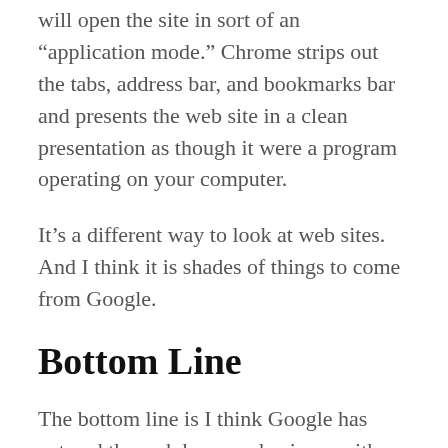will open the site in sort of an “application mode.” Chrome strips out the tabs, address bar, and bookmarks bar and presents the web site in a clean presentation as though it were a program operating on your computer.
It’s a different way to look at web sites. And I think it is shades of things to come from Google.
Bottom Line
The bottom line is I think Google has entered the web browser business with plans to stay long term. Their first beta release shows promise.
I think Chrome is a shot across the bow of the big operating systems companies like Microsoft & Apple. Google seems to be chipping away from...